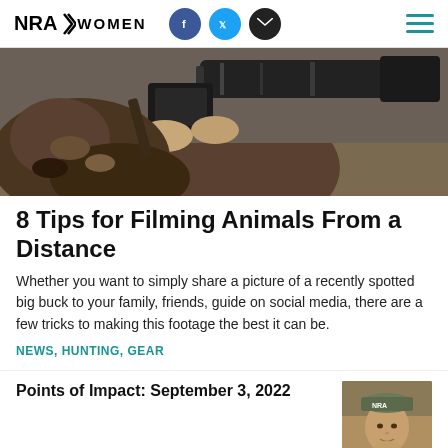NRA WOMEN
[Figure (photo): Woman in camouflage clothing holding a large camera with a long telephoto lens, outdoors in a field setting.]
8 Tips for Filming Animals From a Distance
Whether you want to simply share a picture of a recently spotted big buck to your family, friends, guide on social media, there are a few tricks to making this footage the best it can be.
NEWS, HUNTING, GEAR
Points of Impact: September 3, 2022
[Figure (photo): Portrait thumbnail of a woman wearing a camo hat with NRA logo, outdoors.]